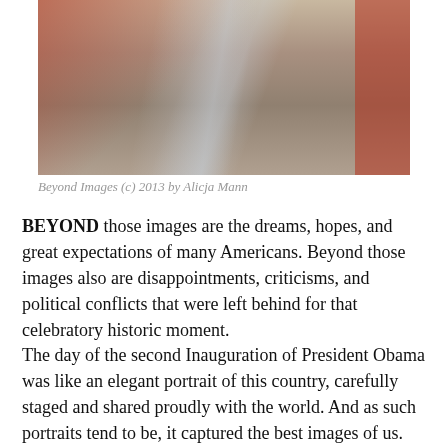[Figure (photo): Close-up photograph of a person's face/neck area with medical tubing or straps, overlaid with glassy reflections and a red-toned background on the right side.]
Beyond Images (c) 2013 by Alicja Mann
BEYOND those images are the dreams, hopes, and great expectations of many Americans. Beyond those images also are disappointments, criticisms, and political conflicts that were left behind for that celebratory historic moment.
The day of the second Inauguration of President Obama was like an elegant portrait of this country, carefully staged and shared proudly with the world. And as such portraits tend to be, it captured the best images of us. We should